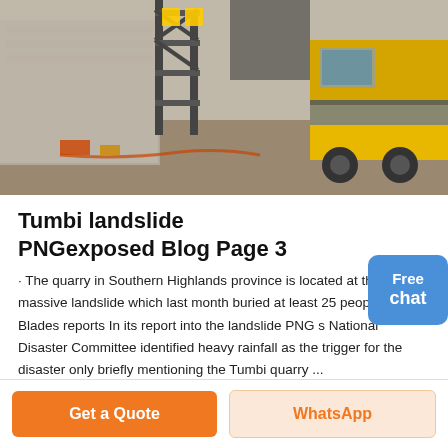[Figure (photo): Construction site photo showing heavy machinery, a yellow truck/crane, metal scaffolding structures, concrete walls, and debris on the ground.]
Tumbi landslide PNGexposed Blog Page 3
· The quarry in Southern Highlands province is located at the top of a massive landslide which last month buried at least 25 people Johnny Blades reports In its report into the landslide PNG s National Disaster Committee identified heavy rainfall as the trigger for the disaster only briefly mentioning the Tumbi quarry ...
Get a Quote
WhatsApp